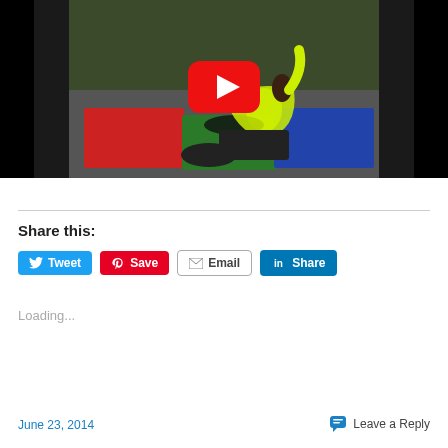[Figure (screenshot): YouTube video thumbnail showing a woman in a neon yellow jacket doing an exercise on colorful foam mats (red, green, blue) outdoors, with a large red YouTube play button overlay in the center.]
Share this:
[Figure (infographic): Social share buttons: Tweet (Twitter/blue), Save (Pinterest/red), Email (grey outline), Share (LinkedIn/blue)]
Loading...
June 23, 2014
Leave a Reply